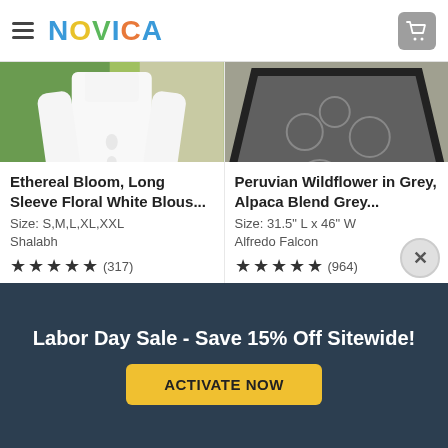NOVICA
[Figure (photo): White long sleeve floral blouse worn by a model, green foliage background]
Ethereal Bloom, Long Sleeve Floral White Blous...
Size: S,M,L,XL,XXL
Shalabh
★★★★★ (317)
[Figure (photo): Grey alpaca blend poncho with floral pattern worn by a model outdoors]
Peruvian Wildflower in Grey, Alpaca Blend Grey...
Size: 31.5" L x 46" W
Alfredo Falcon
★★★★★ (964)
Labor Day Sale - Save 15% Off Sitewide!
ACTIVATE NOW